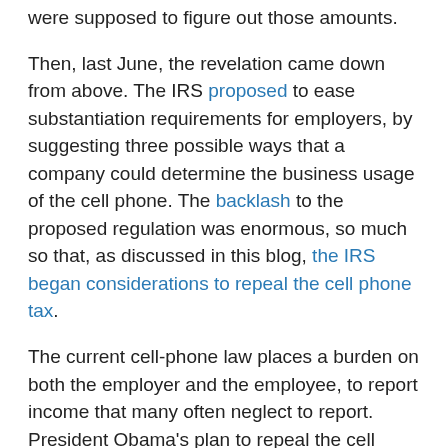were supposed to figure out those amounts.
Then, last June, the revelation came down from above. The IRS proposed to ease substantiation requirements for employers, by suggesting three possible ways that a company could determine the business usage of the cell phone. The backlash to the proposed regulation was enormous, so much so that, as discussed in this blog, the IRS began considerations to repeal the cell phone tax.
The current cell-phone law places a burden on both the employer and the employee, to report income that many often neglect to report. President Obama's plan to repeal the cell phone tax could come into effect as early as the 2010 tax year. A bipartisan bill, aptly titled the MOBILE Cell Phone Act (S. 144) was introduced last year by Senators John Kerry (D-MA) and John Ensign (R-NV) to repeal the 1989 law.
And given the bipartisan support for this repeal in